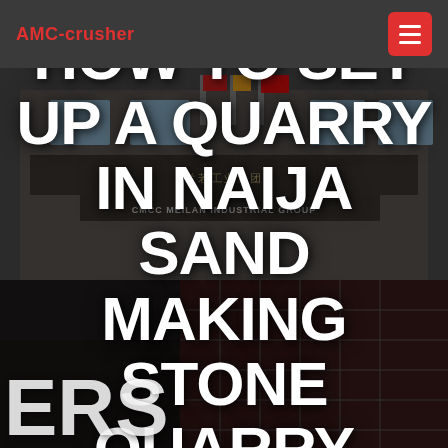AMC-crusher
[Figure (photo): Industrial building facade of CMCC Meilan Industrial Group with Chinese signage, flags visible, photo overlaid with dark tint]
HOW TO SET UP A QUARRY IN NAIJA SAND MAKING STONE QUARRY